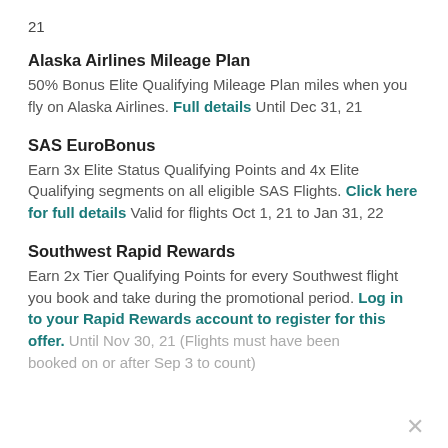21
Alaska Airlines Mileage Plan
50% Bonus Elite Qualifying Mileage Plan miles when you fly on Alaska Airlines. Full details Until Dec 31, 21
SAS EuroBonus
Earn 3x Elite Status Qualifying Points and 4x Elite Qualifying segments on all eligible SAS Flights. Click here for full details Valid for flights Oct 1, 21 to Jan 31, 22
Southwest Rapid Rewards
Earn 2x Tier Qualifying Points for every Southwest flight you book and take during the promotional period. Log in to your Rapid Rewards account to register for this offer. Until Nov 30, 21 (Flights must have been booked on or after Sep 3 to count)